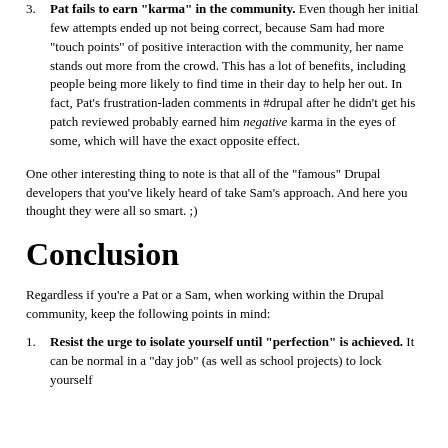Pat fails to earn "karma" in the community. Even though her initial few attempts ended up not being correct, because Sam had more "touch points" of positive interaction with the community, her name stands out more from the crowd. This has a lot of benefits, including people being more likely to find time in their day to help her out. In fact, Pat's frustration-laden comments in #drupal after he didn't get his patch reviewed probably earned him negative karma in the eyes of some, which will have the exact opposite effect.
One other interesting thing to note is that all of the "famous" Drupal developers that you've likely heard of take Sam's approach. And here you thought they were all so smart. ;)
Conclusion
Regardless if you're a Pat or a Sam, when working within the Drupal community, keep the following points in mind:
Resist the urge to isolate yourself until "perfection" is achieved. It can be normal in a "day job" (as well as school projects) to lock yourself